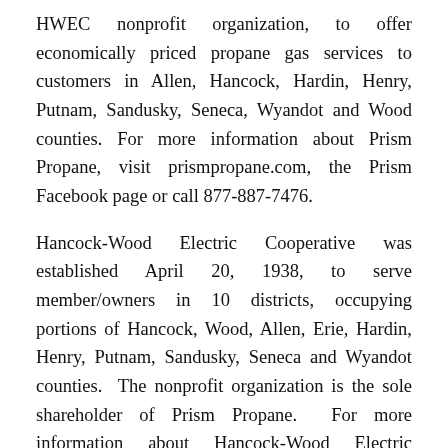HWEC nonprofit organization, to offer economically priced propane gas services to customers in Allen, Hancock, Hardin, Henry, Putnam, Sandusky, Seneca, Wyandot and Wood counties. For more information about Prism Propane, visit prismpropane.com, the Prism Facebook page or call 877-887-7476.
Hancock-Wood Electric Cooperative was established April 20, 1938, to serve member/owners in 10 districts, occupying portions of Hancock, Wood, Allen, Erie, Hardin, Henry, Putnam, Sandusky, Seneca and Wyandot counties. The nonprofit organization is the sole shareholder of Prism Propane. For more information about Hancock-Wood Electric Cooperative, visit hwe.coop, visit Hancock-Wood Facebook pages for mainland and Kelleys Island for